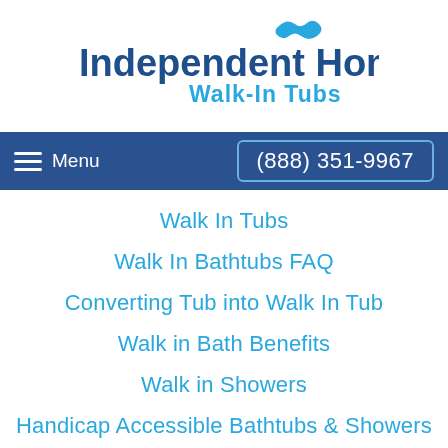[Figure (logo): Independent Home Walk-In Tubs logo with wave icon]
≡ Menu  (888) 351-9967
Walk In Tubs
Walk In Bathtubs FAQ
Converting Tub into Walk In Tub
Walk in Bath Benefits
Walk in Showers
Handicap Accessible Bathtubs & Showers
Bathroom Safety
Hydrotherapy Walk In Tub
Walk In Tub Prices
Senior Bath Solutions